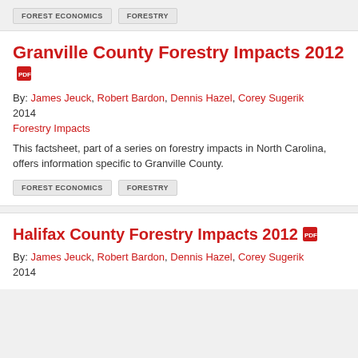FOREST ECONOMICS   FORESTRY
Granville County Forestry Impacts 2012
By: James Jeuck, Robert Bardon, Dennis Hazel, Corey Sugerik
2014
Forestry Impacts
This factsheet, part of a series on forestry impacts in North Carolina, offers information specific to Granville County.
FOREST ECONOMICS   FORESTRY
Halifax County Forestry Impacts 2012
By: James Jeuck, Robert Bardon, Dennis Hazel, Corey Sugerik
2014